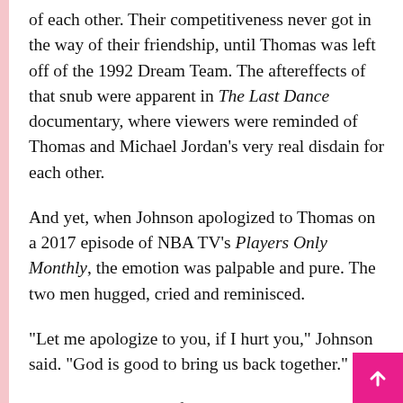of each other. Their competitiveness never got in the way of their friendship, until Thomas was left off of the 1992 Dream Team. The aftereffects of that snub were apparent in The Last Dance documentary, where viewers were reminded of Thomas and Michael Jordan's very real disdain for each other.
And yet, when Johnson apologized to Thomas on a 2017 episode of NBA TV's Players Only Monthly, the emotion was palpable and pure. The two men hugged, cried and reminisced.
“Let me apologize to you, if I hurt you,” Johnson said. “God is good to bring us back together.”
Sometimes, brothers fight because they’re so much alike. Sometimes, brothers fight because of perceived issues with loyalty or love lost. The “love lost” is the